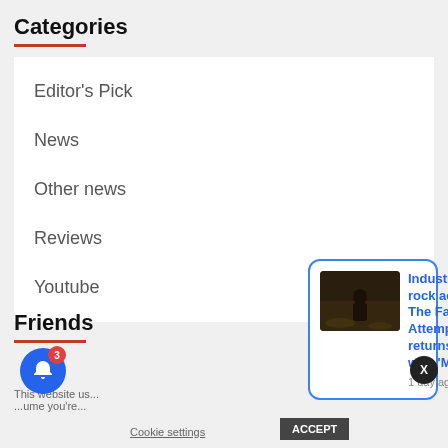Categories
Editor's Pick
News
Other news
Reviews
Youtube
Friends
[Figure (screenshot): Notification popup showing article 'Industrial rock act The Fair Attempts returns with My' posted 1 day ago, with a dark image thumbnail. Also shows a bell notification button with badge count 3, a close X button, and a cookie consent bar at the bottom.]
Industrial rock act The Fair Attempts returns with 'My
1 day ago
This website us...ume you're...
Cookie settings
ACCEPT